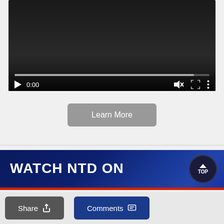[Figure (screenshot): Video player with dark background showing controls: play button, time display 0:00, mute button, fullscreen button, and more options button. Progress bar at bottom.]
[Figure (screenshot): Learn More button - gray rounded rectangle button on light gray background]
[Figure (screenshot): WATCH NTD ON banner with dark navy blue background and red stripe at bottom, with TOP button in circle]
[Figure (screenshot): Share button (dark gray) and Comments button (dark blue) in bottom bar, with reCAPTCHA badge on right]